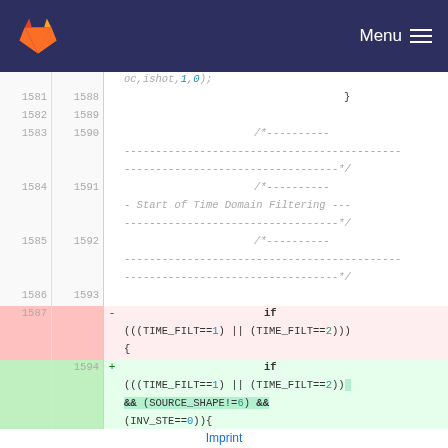GitLab logo | Menu
Code diff view showing lines 1581-1594 with time domain filtering code
Imprint